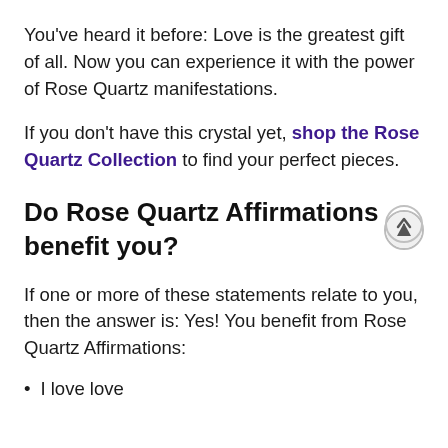You've heard it before: Love is the greatest gift of all. Now you can experience it with the power of Rose Quartz manifestations.
If you don't have this crystal yet, shop the Rose Quartz Collection to find your perfect pieces.
Do Rose Quartz Affirmations benefit you?
If one or more of these statements relate to you, then the answer is: Yes! You benefit from Rose Quartz Affirmations:
I love love